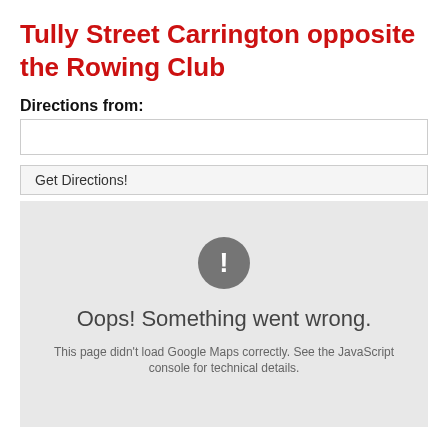Tully Street Carrington opposite the Rowing Club
Directions from:
[Figure (screenshot): Empty text input box for entering a starting address]
[Figure (screenshot): Get Directions! button]
[Figure (other): Google Maps error panel showing a grey exclamation icon, 'Oops! Something went wrong.' heading, and subtext: 'This page didn't load Google Maps correctly. See the JavaScript console for technical details.']